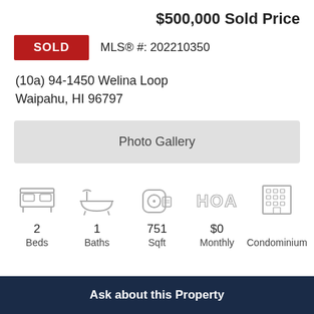$500,000 Sold Price
SOLD   MLS® #: 202210350
(10a) 94-1450 Welina Loop
Waipahu, HI 96797
[Figure (other): Photo Gallery button placeholder]
[Figure (infographic): Property details icons: bed (2 Beds), bath (1 Baths), sqft (751 Sqft), HOA ($0 Monthly), Condominium]
Ask about this Property